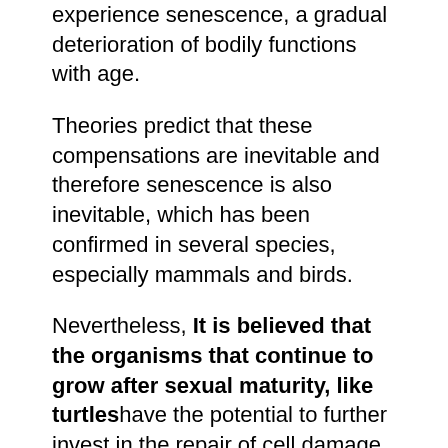experience senescence, a gradual deterioration of bodily functions with age.
Theories predict that these compensations are inevitable and therefore senescence is also inevitable, which has been confirmed in several species, especially mammals and birds.
Nevertheless, It is believed that the organisms that continue to grow after sexual maturity, like turtles have the potential to further invest in the repair of cell damage and are therefore considered ideal candidates to reduce and even prevent the deleterious effects of senescence.
However, the fact that some of them show